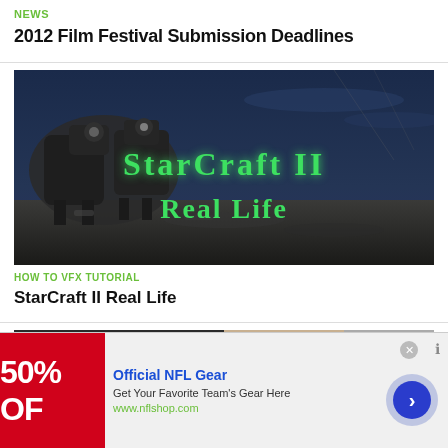NEWS
2012 Film Festival Submission Deadlines
[Figure (photo): Dark cinematic scene showing robotic/mechanical units with green glowing text reading 'StarCraft II Real Life' against a moody night sky background]
HOW TO VFX TUTORIAL
StarCraft II Real Life
[Figure (screenshot): Partial thumbnail of another article showing dark editing software interface on left and close-up of a phone/tablet on right]
[Figure (infographic): Advertisement overlay: Official NFL Gear - 50% OFF - Get Your Favorite Team's Gear Here - www.nflshop.com with red sale banner and navigation arrow button]